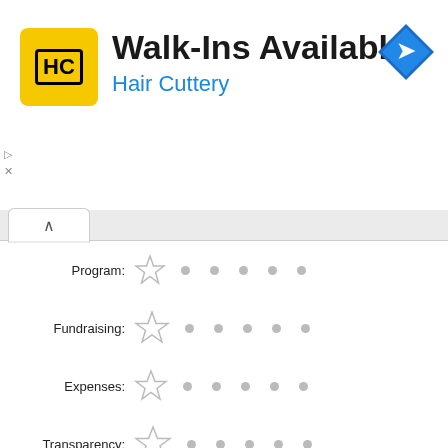[Figure (infographic): Hair Cuttery advertisement banner. Yellow square logo with HC text, bold title 'Walk-Ins Available', subtitle 'Hair Cuttery' in blue, navigation icon top right. Small play/close dismiss icons bottom left.]
Program:
Fundraising:
Expenses:
Transparency:
Your Review
Would you recommend Allen Creek Preschool to others? (option